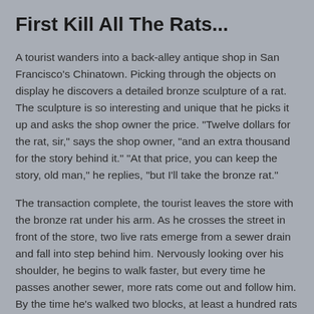First Kill All The Rats...
A tourist wanders into a back-alley antique shop in San Francisco's Chinatown. Picking through the objects on display he discovers a detailed bronze sculpture of a rat. The sculpture is so interesting and unique that he picks it up and asks the shop owner the price. "Twelve dollars for the rat, sir," says the shop owner, "and an extra thousand for the story behind it." "At that price, you can keep the story, old man," he replies, "but I'll take the bronze rat."
The transaction complete, the tourist leaves the store with the bronze rat under his arm. As he crosses the street in front of the store, two live rats emerge from a sewer drain and fall into step behind him. Nervously looking over his shoulder, he begins to walk faster, but every time he passes another sewer, more rats come out and follow him. By the time he's walked two blocks, at least a hundred rats are at his heels, and people begin to point and shout. He walks even faster, and soon breaks into a trot as multitudes of rats swarm from sewers, basements, vacant lots and abandoned cars, all following him.